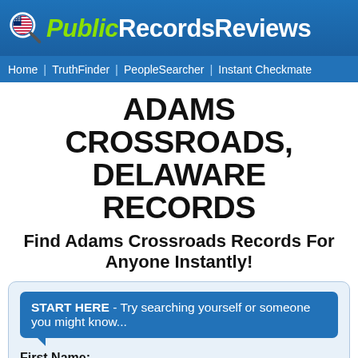PublicRecordsReviews
Home | TruthFinder | PeopleSearcher | Instant Checkmate
ADAMS CROSSROADS, DELAWARE RECORDS
Find Adams Crossroads Records For Anyone Instantly!
START HERE - Try searching yourself or someone you might know...
First Name:
e.g. John